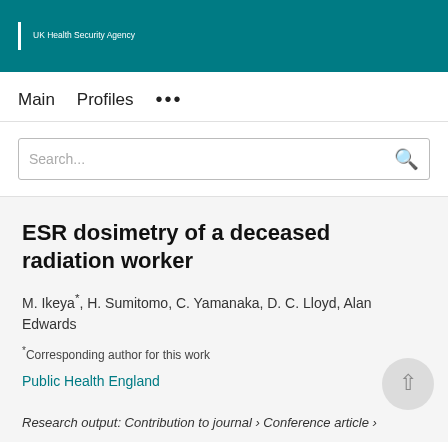UK Health Security Agency
Main   Profiles   ...
Search...
ESR dosimetry of a deceased radiation worker
M. Ikeya*, H. Sumitomo, C. Yamanaka, D. C. Lloyd, Alan Edwards
*Corresponding author for this work
Public Health England
Research output: Contribution to journal › Conference article ›